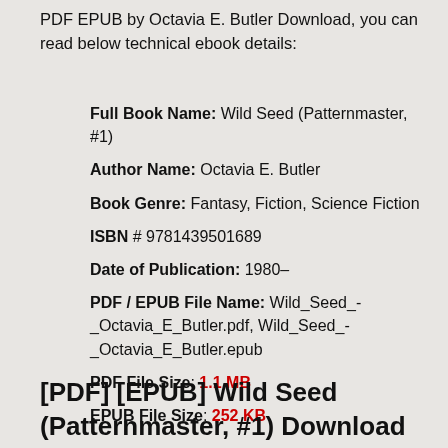PDF EPUB by Octavia E. Butler Download, you can read below technical ebook details:
Full Book Name: Wild Seed (Patternmaster, #1)
Author Name: Octavia E. Butler
Book Genre: Fantasy, Fiction, Science Fiction
ISBN # 9781439501689
Date of Publication: 1980–
PDF / EPUB File Name: Wild_Seed_-_Octavia_E_Butler.pdf, Wild_Seed_-_Octavia_E_Butler.epub
PDF File Size: 1.1 MB
EPUB File Size: 252 KB
[PDF] [EPUB] Wild Seed (Patternmaster, #1) Download